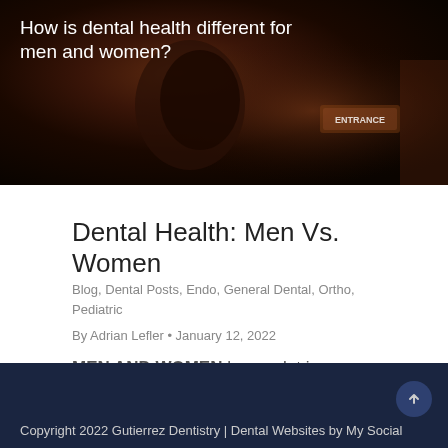[Figure (photo): Dark brown/reddish interior photo, possibly a dental office entrance with signage visible in the background. Text overlay: 'How is dental health different for men and women?']
Dental Health: Men Vs. Women
Blog, Dental Posts, Endo, General Dental, Ortho, Pediatric
By Adrian Lefler • January 12, 2022
MEN AND WOMEN have a lot in common, but they face significantly different challenges...
Copyright 2022 Gutierrez Dentistry | Dental Websites by My Social